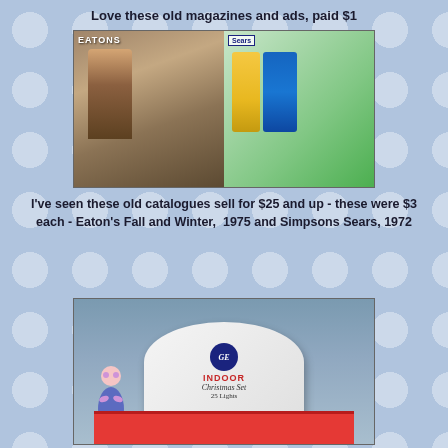Love these old magazines and ads, paid $1
[Figure (photo): Two old catalogues side by side: Eaton's Fall and Winter 1975 on the left, Simpsons Sears 1972 on the right. The Eaton's cover shows a woman in a fur-collared winter coat. The Sears cover shows a young woman and man in fashionable 1970s clothing against a green background.]
I've seen these old catalogues sell for $25 and up - these were $3 each - Eaton's Fall and Winter,  1975 and Simpsons Sears, 1972
[Figure (photo): GE Indoor Christmas Set box showing 25 lights, with a cartoon elf/snowman figure on the packaging, placed on a table outdoors.]